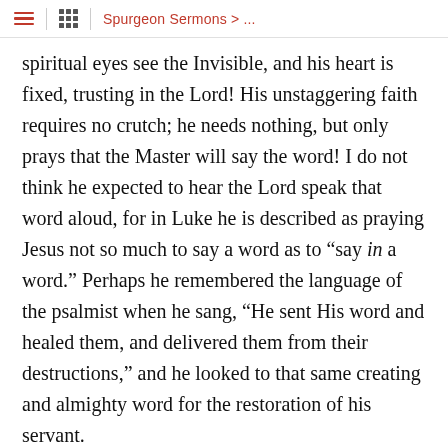Spurgeon Sermons > ...
spiritual eyes see the Invisible, and his heart is fixed, trusting in the Lord! His unstaggering faith requires no crutch; he needs nothing, but only prays that the Master will say the word! I do not think he expected to hear the Lord speak that word aloud, for in Luke he is described as praying Jesus not so much to say a word as to "say in a word." Perhaps he remembered the language of the psalmist when he sang, "He sent His word and healed them, and delivered them from their destructions," and he looked to that same creating and almighty word for the restoration of his servant.
Now, brothers and sisters, transfer this to yourselves. I pray the Holy Spirit that many here may have the faith which does not crave for signs and wonders. "I could believe," says one, "that I were saved, if I felt some